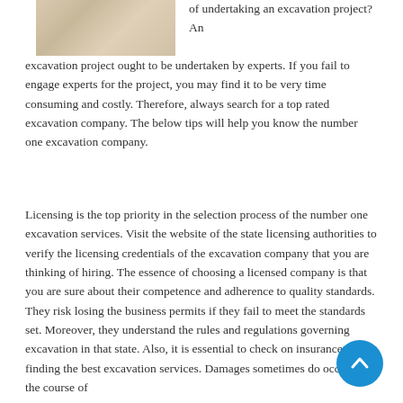[Figure (photo): Close-up photo of light-colored wooden planks or boards, possibly excavation-related materials or flooring.]
of undertaking an excavation project? An excavation project ought to be undertaken by experts. If you fail to engage experts for the project, you may find it to be very time consuming and costly. Therefore, always search for a top rated excavation company. The below tips will help you know the number one excavation company.
Licensing is the top priority in the selection process of the number one excavation services. Visit the website of the state licensing authorities to verify the licensing credentials of the excavation company that you are thinking of hiring. The essence of choosing a licensed company is that you are sure about their competence and adherence to quality standards. They risk losing the business permits if they fail to meet the standards set. Moreover, they understand the rules and regulations governing excavation in that state. Also, it is essential to check on insurance while finding the best excavation services. Damages sometimes do occur in the course of